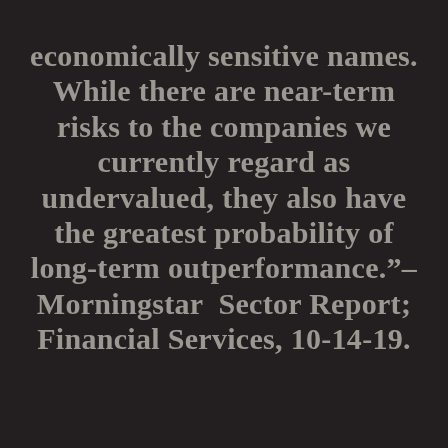...pricing, of the most economically sensitive names. While there are near-term risks to the companies we currently regard as undervalued, they also have the greatest probability of long-term outperformance."– Morningstar  Sector Report; Financial Services, 10-14-19.